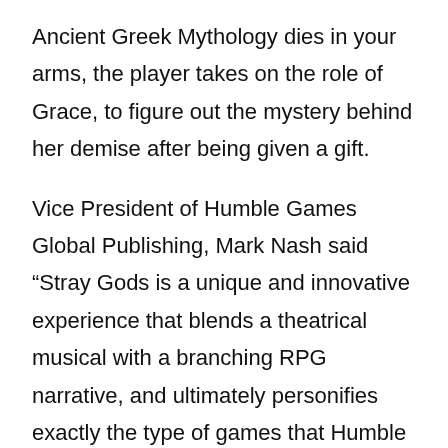Ancient Greek Mythology dies in your arms, the player takes on the role of Grace, to figure out the mystery behind her demise after being given a gift.
Vice President of Humble Games Global Publishing, Mark Nash said “Stray Gods is a unique and innovative experience that blends a theatrical musical with a branching RPG narrative, and ultimately personifies exactly the type of games that Humble Games wants to bring into the world.” The